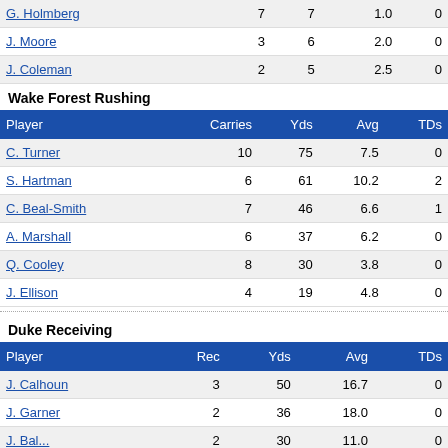| Player | Carries | Yds | Avg | TDs |
| --- | --- | --- | --- | --- |
| G. Holmberg | 7 | 7 | 1.0 | 0 |
| J. Moore | 3 | 6 | 2.0 | 0 |
| J. Coleman | 2 | 5 | 2.5 | 0 |
Wake Forest Rushing
| Player | Carries | Yds | Avg | TDs |
| --- | --- | --- | --- | --- |
| C. Turner | 10 | 75 | 7.5 | 0 |
| S. Hartman | 6 | 61 | 10.2 | 2 |
| C. Beal-Smith | 7 | 46 | 6.6 | 1 |
| A. Marshall | 6 | 37 | 6.2 | 0 |
| Q. Cooley | 8 | 30 | 3.8 | 0 |
| J. Ellison | 4 | 19 | 4.8 | 0 |
Duke Receiving
| Player | Rec | Yds | Avg | TDs |
| --- | --- | --- | --- | --- |
| J. Calhoun | 3 | 50 | 16.7 | 0 |
| J. Garner | 2 | 36 | 18.0 | 0 |
| J. Bal... | ... | 30 | 11.0 | ... |